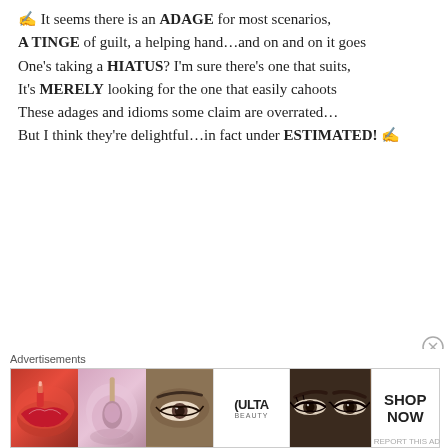✍ It seems there is an ADAGE for most scenarios, A TINGE of guilt, a helping hand...and on and on it goes One's taking a HIATUS? I'm sure there's one that suits, It's MERELY looking for the one that easily cahoots These adages and idioms some claim are overrated... But I think they're delightful…in fact under ESTIMATED! ✍
Advertisements
[Figure (photo): Advertisement banner showing beauty/makeup products including lips with lipstick, makeup brush, eye with makeup, Ulta Beauty logo, eyes with dramatic makeup, and SHOP NOW button]